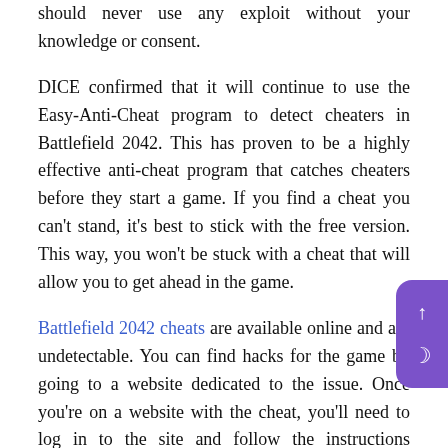should never use any exploit without your knowledge or consent.
DICE confirmed that it will continue to use the Easy-Anti-Cheat program to detect cheaters in Battlefield 2042. This has proven to be a highly effective anti-cheat program that catches cheaters before they start a game. If you find a cheat you can't stand, it's best to stick with the free version. This way, you won't be stuck with a cheat that will allow you to get ahead in the game.
Battlefield 2042 cheats are available online and are undetectable. You can find hacks for the game by going to a website dedicated to the issue. Once you're on a website with the cheat, you'll need to log in to the site and follow the instructions carefully. It's very easy to cheat online, but you shouldn't try it yourself as it'll ruin your gaming experience. And it is also illegal to cheat on the official website.
Fortunately, the Battlefield 2042 cheats available online will not have the side effect of being undetectable. Rather, they